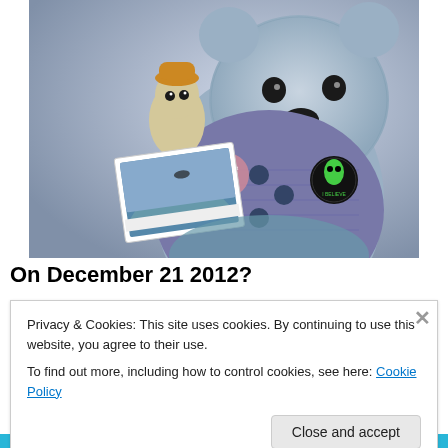[Figure (photo): A crocheted/knitted blue bear stuffed animal holding a postcard showing a mountain with a UFO, alongside a small bird stuffed toy wearing an orange hat. The bear has buttons and pins including an alien 'I Believe' badge.]
On December 21 2012?
Privacy & Cookies: This site uses cookies. By continuing to use this website, you agree to their use.
To find out more, including how to control cookies, see here: Cookie Policy
Close and accept